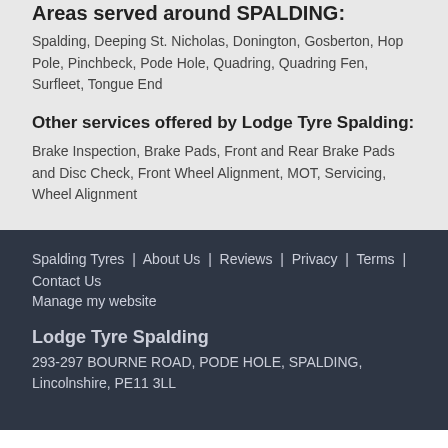Areas served around SPALDING:
Spalding, Deeping St. Nicholas, Donington, Gosberton, Hop Pole, Pinchbeck, Pode Hole, Quadring, Quadring Fen, Surfleet, Tongue End
Other services offered by Lodge Tyre Spalding:
Brake Inspection, Brake Pads, Front and Rear Brake Pads and Disc Check, Front Wheel Alignment, MOT, Servicing, Wheel Alignment
Spalding Tyres | About Us | Reviews | Privacy | Terms | Contact Us
Manage my website
Lodge Tyre Spalding
293-297 BOURNE ROAD, PODE HOLE, SPALDING, Lincolnshire, PE11 3LL